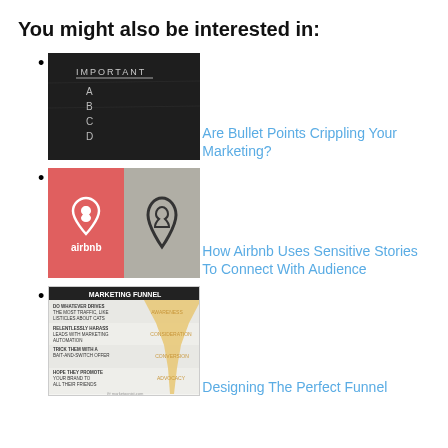You might also be interested in:
Are Bullet Points Crippling Your Marketing?
[Figure (photo): Chalkboard with 'IMPORTANT' written at top and A, B, C, D listed below]
How Airbnb Uses Sensitive Stories To Connect With Audience
[Figure (photo): Airbnb logo on red background next to a hand holding an Airbnb logo shape]
Designing The Perfect Funnel
[Figure (infographic): Marketing funnel diagram showing Awareness, Consideration, Conversion, Advocacy stages]